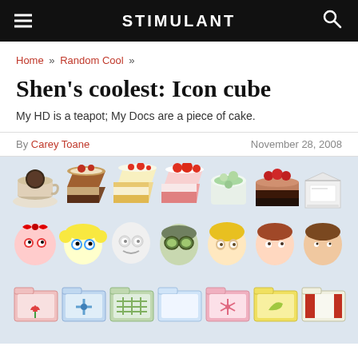STIMULANT
Home » Random Cool »
Shen's coolest: Icon cube
My HD is a teapot; My Docs are a piece of cake.
By Carey Toane   November 28, 2008
[Figure (illustration): Grid of colorful pixel/cartoon icons in three rows: Row 1 shows food icons (coffee cup, chocolate cake slice, layered cake slice, strawberry cake slice, dessert cup, layered chocolate cake, milk carton). Row 2 shows character face icons (Powerpuff-style girl with red bow, Powerpuff-style girl with yellow pigtails, ghost/robot face, character with green goggles, character with yellow hair, girl with auburn hair, boy with brown hair). Row 3 shows folder icons (pink tulip folder, blue compass folder, green grid folder, plain white/blue folder, pink snowflake folder, yellow folder, striped folder).]